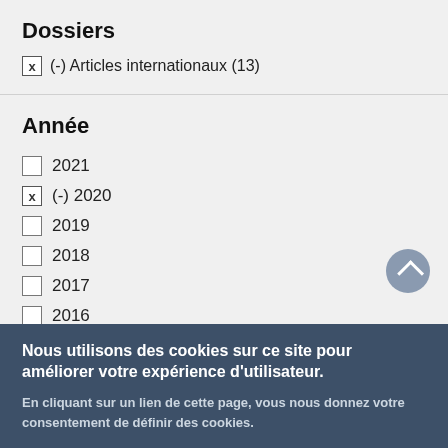Dossiers
x  (-) Articles internationaux (13)
Année
☐  2021
x  (-) 2020
☐  2019
☐  2018
☐  2017
☐  2016
☐  2015
Nous utilisons des cookies sur ce site pour améliorer votre expérience d'utilisateur.
En cliquant sur un lien de cette page, vous nous donnez votre consentement de définir des cookies.